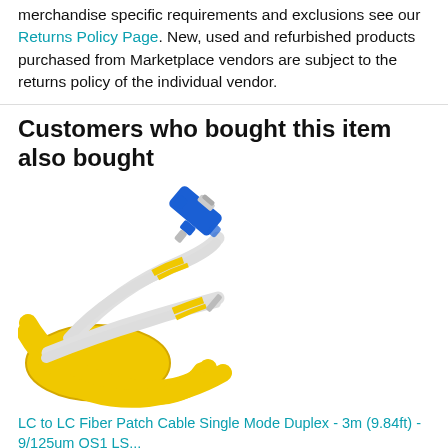merchandise specific requirements and exclusions see our Returns Policy Page. New, used and refurbished products purchased from Marketplace vendors are subject to the returns policy of the individual vendor.
Customers who bought this item also bought
[Figure (photo): Photo of LC to LC fiber optic patch cables with yellow cable body and blue LC connectors on white/gray ferrules]
LC to LC Fiber Patch Cable Single Mode Duplex - 3m (9.84ft) - 9/125um OS1 LS...
★★★★☆ 497